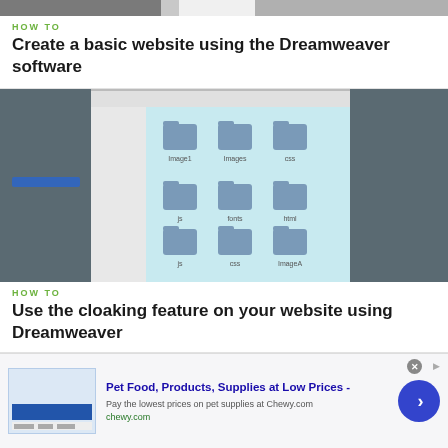HOW TO
Create a basic website using the Dreamweaver software
[Figure (screenshot): Screenshot of Dreamweaver software showing a file browser window with folder icons arranged in a grid on a light blue background, with the application panels visible on the left side.]
HOW TO
Use the cloaking feature on your website using Dreamweaver
[Figure (infographic): Advertisement for Chewy.com: Pet Food, Products, Supplies at Low Prices. Pay the lowest prices on pet supplies at Chewy.com. Shows chewy.com URL in green and a blue arrow button.]